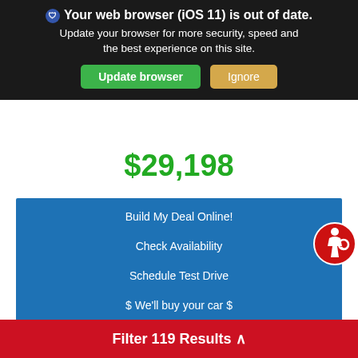🛡 Your web browser (iOS 11) is out of date. Update your browser for more security, speed and the best experience on this site. [Update browser] [Ignore]
$29,198
Build My Deal Online!
Check Availability
Schedule Test Drive
$ We'll buy your car $
Credit Estimator
Filter 119 Results ∧